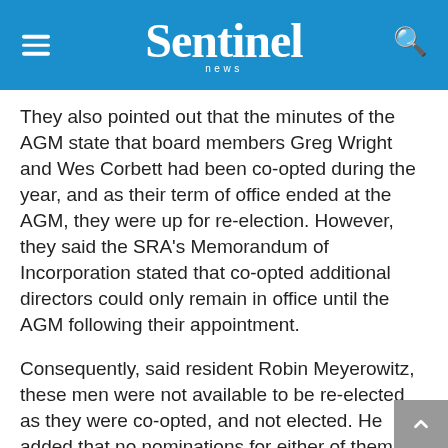Sentinel news
They also pointed out that the minutes of the AGM state that board members Greg Wright and Wes Corbett had been co-opted during the year, and as their term of office ended at the AGM, they were up for re-election. However, they said the SRA's Memorandum of Incorporation stated that co-opted additional directors could only remain in office until the AGM following their appointment.
Consequently, said resident Robin Meyerowitz, these men were not available to be re-elected as they were co-opted, and not elected. He added that no nominations for either of them had been announced at the AGM.
The residents' concerns have been compounded in that two of their representatives, Sandi Brittz Andrew McNulty, were